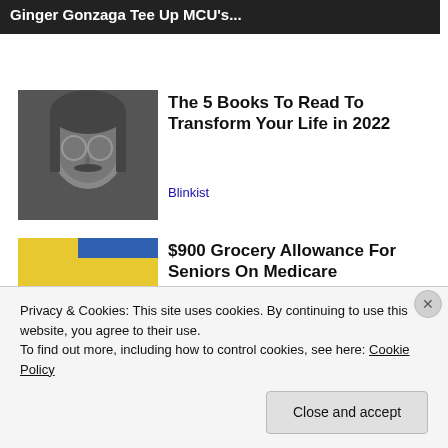[Figure (screenshot): Top banner with text 'Ginger Gonzaga Tee Up MCU's...' on dark background]
[Figure (photo): Black and white photo of a young man with glasses and long hair]
The 5 Books To Read To Transform Your Life in 2022
Blinkist
[Figure (photo): Photo of a grocery store interior with shoppers]
$900 Grocery Allowance For Seniors On Medicare
bestmedicareplans.com
Privacy & Cookies: This site uses cookies. By continuing to use this website, you agree to their use.
To find out more, including how to control cookies, see here: Cookie Policy
Close and accept